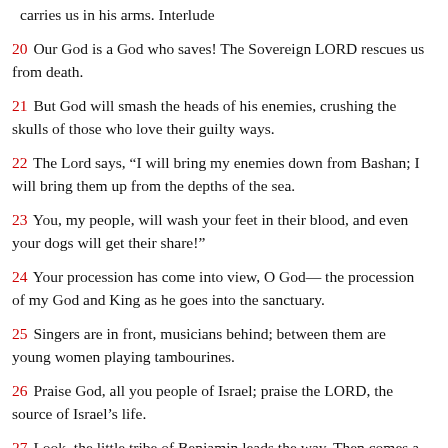carries us in his arms. Interlude
20  Our God is a God who saves! The Sovereign LORD rescues us from death.
21  But God will smash the heads of his enemies, crushing the skulls of those who love their guilty ways.
22  The Lord says, “I will bring my enemies down from Bashan; I will bring them up from the depths of the sea.
23  You, my people, will wash your feet in their blood, and even your dogs will get their share!”
24  Your procession has come into view, O God— the procession of my God and King as he goes into the sanctuary.
25  Singers are in front, musicians behind; between them are young women playing tambourines.
26  Praise God, all you people of Israel; praise the LORD, the source of Israel’s life.
27  Look, the little tribe of Benjamin leads the way. Then comes a great throng of rulers from Judah and all the rulers of